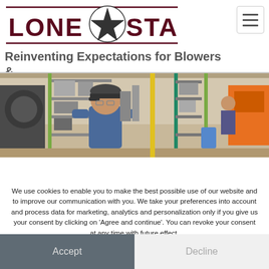[Figure (logo): Lone Star logo with star emblem, dark red text 'LONE STAR' with horizontal lines above and below, and a star in the center]
Reinventing Expectations for Blowers & Compressors
[Figure (photo): Warehouse interior with a worker in a blue shirt and cap, industrial shelving with equipment and parts, an orange vehicle visible in the background]
We use cookies to enable you to make the best possible use of our website and to improve our communication with you. We take your preferences into account and process data for marketing, analytics and personalization only if you give us your consent by clicking on 'Agree and continue'. You can revoke your consent at any time with future effect.
Accept
Decline